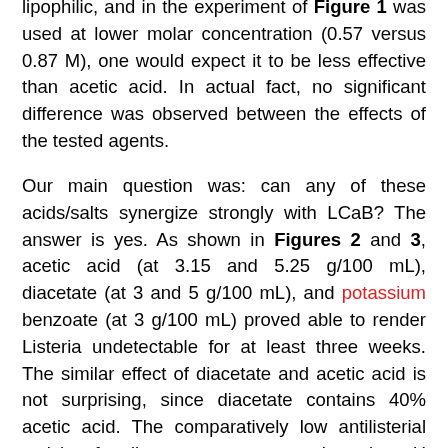lipophilic, and in the experiment of Figure 1 was used at lower molar concentration (0.57 versus 0.87 M), one would expect it to be less effective than acetic acid. In actual fact, no significant difference was observed between the effects of the tested agents.
Our main question was: can any of these acids/salts synergize strongly with LCaB? The answer is yes. As shown in Figures 2 and 3, acetic acid (at 3.15 and 5.25 g/100 mL), diacetate (at 3 and 5 g/100 mL), and potassium benzoate (at 3 g/100 mL) proved able to render Listeria undetectable for at least three weeks. The similar effect of diacetate and acetic acid is not surprising, since diacetate contains 40% acetic acid. The comparatively low antilisterial activity of sodium acetate suggests that a low pH is essential to the observed effect. How do LCaB and organic acids influence each other's action? The antimicrobial activity of bacteriocins such as nisin, sakacin P, and leucocin A is known to be enhanced at low pH [25,26]. In the case of pediocin, a low external pH has been found to favor the